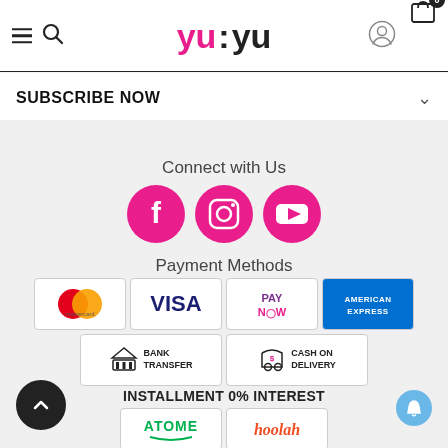[Figure (logo): YuYu brand logo in pink and black stylized text]
SUBSCRIBE NOW
Connect with Us
[Figure (infographic): Social media icons: Facebook, Instagram, YouTube — pink circular buttons]
Payment Methods
[Figure (infographic): Payment method logos: Mastercard, VISA, PayNow, American Express, Bank Transfer, Cash on Delivery]
INSTALLMENT 0% INTEREST
[Figure (infographic): Installment logos: ATOME and hoolah]